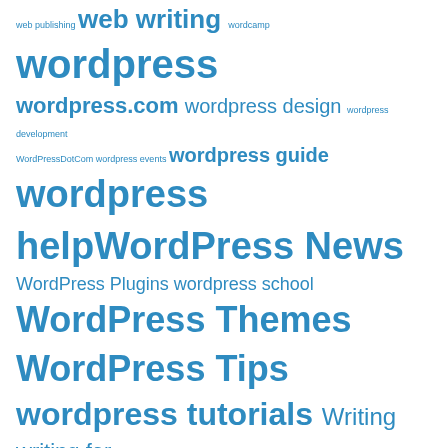web publishing  web writing  wordcamp  wordpress  wordpress.com  wordpress design  wordpress development  WordPressDotCom  wordpress events  wordpress guide  wordpress help  WordPress News  WordPress Plugins  wordpress school  WordPress Themes  WordPress Tips  wordpress tutorials  Writing  writing for the web  writing tips
Email Subscription
Add your email if you'd like to receive email notifications of updates. Thanks!